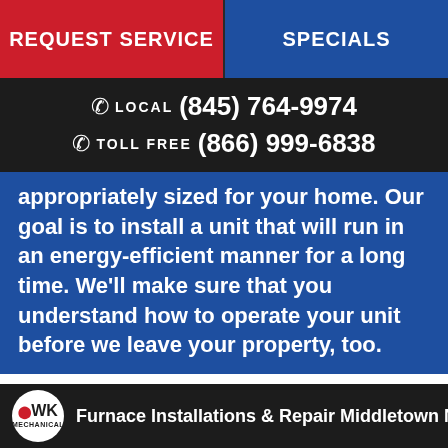REQUEST SERVICE | SPECIALS
LOCAL (845) 764-9974 | TOLL FREE (866) 999-6838
appropriately sized for your home. Our goal is to install a unit that will run in an energy-efficient manner for a long time. We'll make sure that you understand how to operate your unit before we leave your property, too.
Furnace Installations & Repair Middletown N